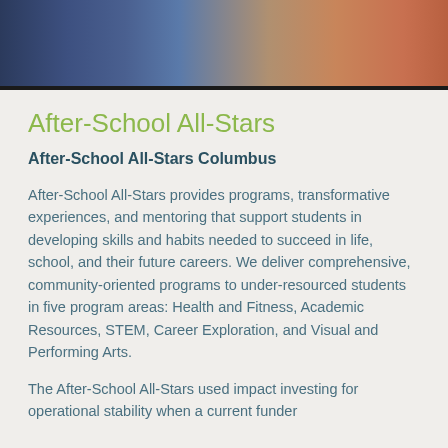[Figure (photo): Photo strip showing children at close range — denim clothing on left, skin/face tones on right]
After-School All-Stars
After-School All-Stars Columbus
After-School All-Stars provides programs, transformative experiences, and mentoring that support students in developing skills and habits needed to succeed in life, school, and their future careers. We deliver comprehensive, community-oriented programs to under-resourced students in five program areas: Health and Fitness, Academic Resources, STEM, Career Exploration, and Visual and Performing Arts.
The After-School All-Stars used impact investing for operational stability when a current funder